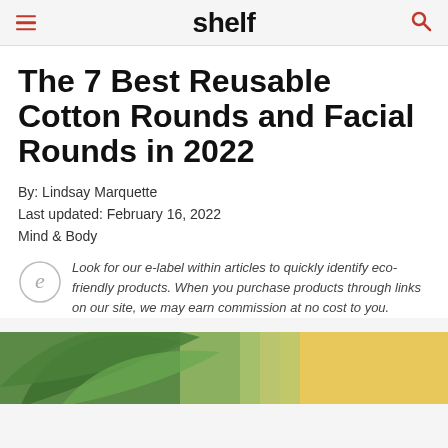shelf
The 7 Best Reusable Cotton Rounds and Facial Rounds in 2022
By: Lindsay Marquette
Last updated: February 16, 2022
Mind & Body
Look for our e-label within articles to quickly identify eco-friendly products. When you purchase products through links on our site, we may earn commission at no cost to you.
[Figure (photo): Green tropical leaves on a light sandy/golden background]